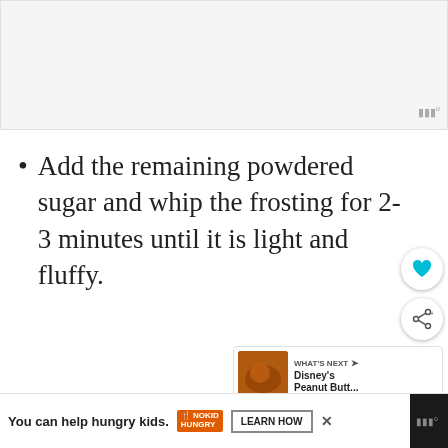[Figure (photo): Light gray placeholder image area at the top of the page (partial view of a recipe article)]
Add the remaining powdered sugar and whip the frosting for 2-3 minutes until it is light and fluffy.
[Figure (photo): Bottom portion showing a close-up photo of what appears to be dough or frosting on a bowl, dark background]
WHAT'S NEXT → Disney's Peanut Butt...
You can help hungry kids. NOKID HUNGRY LEARN HOW